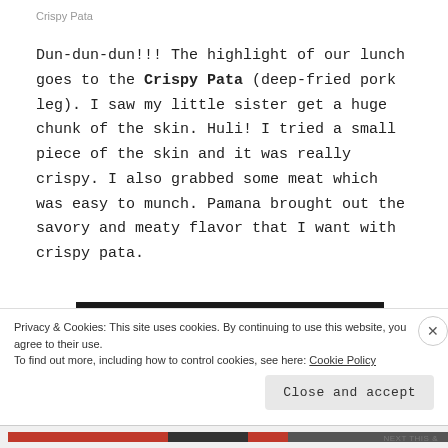Crispy Pata
Dun-dun-dun!!! The highlight of our lunch goes to the Crispy Pata (deep-fried pork leg). I saw my little sister get a huge chunk of the skin. Huli! I tried a small piece of the skin and it was really crispy. I also grabbed some meat which was easy to munch. Pamana brought out the savory and meaty flavor that I want with crispy pata.
[Figure (photo): Dark/black horizontal bar representing top of an image]
Privacy & Cookies: This site uses cookies. By continuing to use this website, you agree to their use.
To find out more, including how to control cookies, see here: Cookie Policy
Close and accept